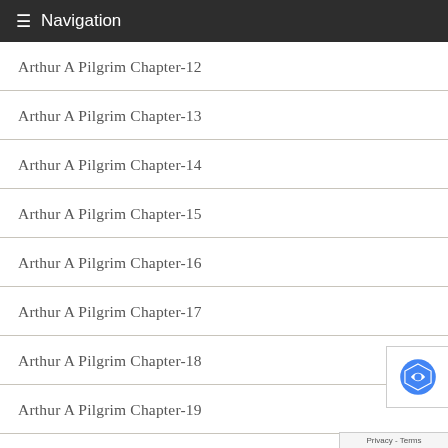≡ Navigation
Arthur A Pilgrim Chapter-12
Arthur A Pilgrim Chapter-13
Arthur A Pilgrim Chapter-14
Arthur A Pilgrim Chapter-15
Arthur A Pilgrim Chapter-16
Arthur A Pilgrim Chapter-17
Arthur A Pilgrim Chapter-18
Arthur A Pilgrim Chapter-19
Arthur A Pilgrim Chapter-2